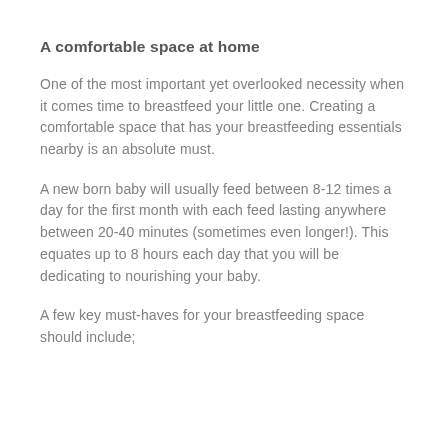A comfortable space at home
One of the most important yet overlooked necessity when it comes time to breastfeed your little one. Creating a comfortable space that has your breastfeeding essentials nearby is an absolute must.
A new born baby will usually feed between 8-12 times a day for the first month with each feed lasting anywhere between 20-40 minutes (sometimes even longer!). This equates up to 8 hours each day that you will be dedicating to nourishing your baby.
A few key must-haves for your breastfeeding space should include;